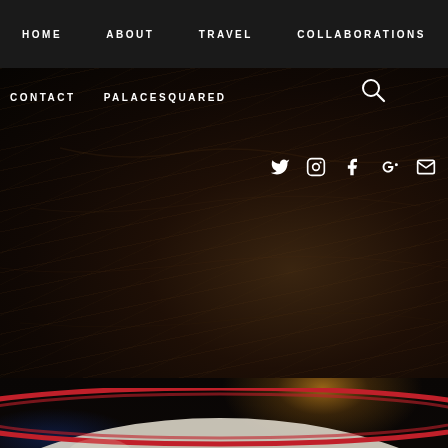HOME  ABOUT  TRAVEL  COLLABORATIONS
CONTACT  PALACESQUARED  [search icon]  [twitter] [instagram] [facebook] [google+] [email]
[Figure (photo): Dark textured background header image of a blog website with social media icons (twitter, instagram, facebook, google+, email) visible on the right side]
[Figure (photo): Close-up photo of a white bowl with red rim containing what appears to be a grain dish (risotto or congee), photographed on a dark surface with a warm orange bokeh light in background and blue light on the left. A back-to-top chevron arrow icon is visible in the lower right.]